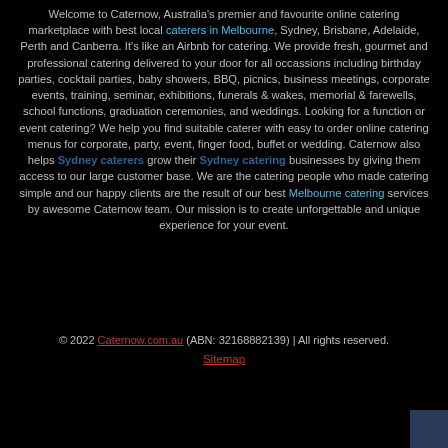Welcome to Caternow, Australia's premier and favourite online catering marketplace with best local caterers in Melbourne, Sydney, Brisbane, Adelaide, Perth and Canberra. It's like an Airbnb for catering. We provide fresh, gourmet and professional catering delivered to your door for all occassions including birthday parties, cocktail parties, baby showers, BBQ, picnics, business meetings, corporate events, training, seminar, exhibitions, funerals & wakes, memorial & farewells, school functions, graduation ceremonies, and weddings. Looking for a function or event catering? We help you find suitable caterer with easy to order online catering menus for corporate, party, event, finger food, buffet or wedding. Caternow also helps Sydney caterers grow their Sydney catering businesses by giving them access to our large customer base. We are the catering people who made catering simple and our happy clients are the result of our best Melbourne catering services by awesome Caternow team. Our mission is to create unforgettable and unique experience for your event.
© 2022 Caternow.com.au (ABN: 32168882139) | All rights reserved. Sitemap